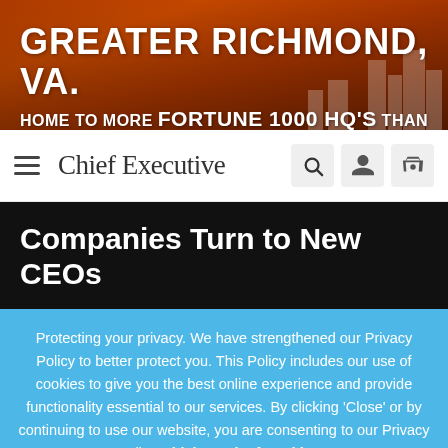[Figure (photo): Banner advertisement for Greater Richmond, VA with city skyline background in orange/red tones. Text reads: GREATER RICHMOND, VA. HOME TO MORE FORTUNE 1000 HQ'S THAN]
Chief Executive
Companies Turn to New CEOs
Protecting your privacy. We have strengthened our Privacy Policy to better protect you. This Policy includes our use of cookies to give you the best online experience and provide functionality essential to our services. By clicking 'Close' or by continuing to use our website, you are consenting to our Privacy Policy which can be found here
Accept